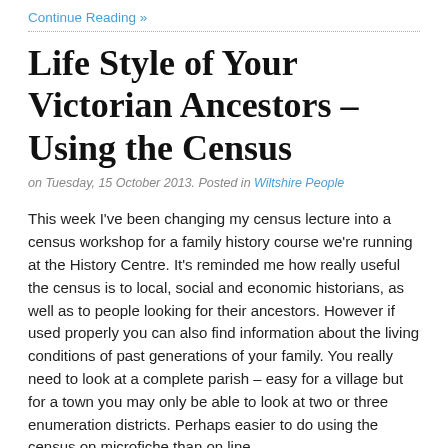Continue Reading »
Life Style of Your Victorian Ancestors – Using the Census
on Tuesday, 15 October 2013. Posted in Wiltshire People
This week I've been changing my census lecture into a census workshop for a family history course we're running at the History Centre. It's reminded me how really useful the census is to local, social and economic historians, as well as to people looking for their ancestors. However if used properly you can also find information about the living conditions of past generations of your family. You really need to look at a complete parish – easy for a village but for a town you may only be able to look at two or three enumeration districts. Perhaps easier to do using the census on microfiche than on line.